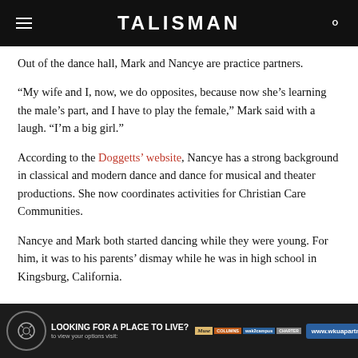TALISMAN
Out of the dance hall, Mark and Nancye are practice partners.
“My wife and I, now, we do opposites, because now she’s learning the male’s part, and I have to play the female,” Mark said with a laugh. “I’m a big girl.”
According to the Doggetts’ website, Nancye has a strong background in classical and modern dance and dance for musical and theater productions. She now coordinates activities for Christian Care Communities.
Nancye and Mark both started dancing while they were young. For him, it was to his parents’ dismay while he was in high school in Kingsburg, California.
LOOKING FOR A PLACE TO LIVE? to view your options visit: www.wkuapartments.com